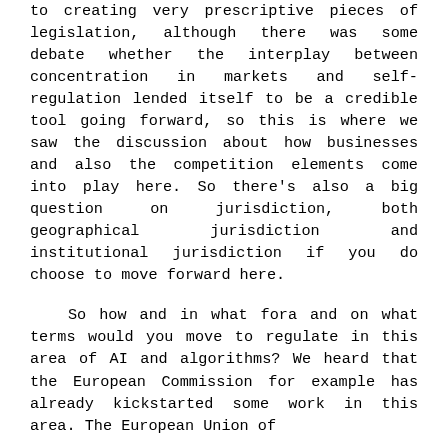to creating very prescriptive pieces of legislation, although there was some debate whether the interplay between concentration in markets and self-regulation lended itself to be a credible tool going forward, so this is where we saw the discussion about how businesses and also the competition elements come into play here.  So there's also a big question on jurisdiction, both geographical jurisdiction and institutional jurisdiction if you do choose to move forward here.
So how and in what fora and on what terms would you move to regulate in this area of AI and algorithms?  We heard that the European Commission for example has already kickstarted some work in this area.  The European Union of